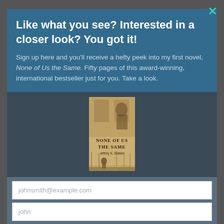[Figure (screenshot): Background watermark-style text showing partial book title in large serif letters: '...WELCOME']
Like what you see? Interested in a closer look? You got it!
Sign up here and you'll receive a hefty peek into my first novel, None of Us the Same. Fifty pages of this award-winning, international bestseller just for you. Take a look.
[Figure (illustration): Book cover for 'None of Us the Same' by Jeffrey K. Walker, showing a sepia-toned vintage image with a figure in foreground and text overlay]
johnsmith@example.com
john